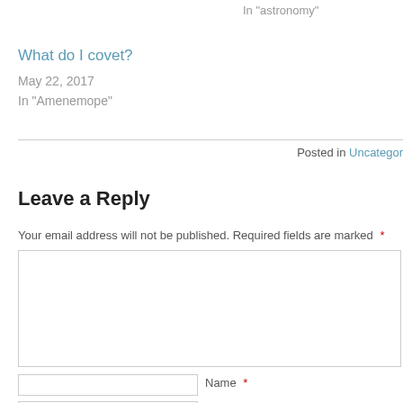In "astronomy"
What do I covet?
May 22, 2017
In "Amenemope"
Posted in Uncategor…
Leave a Reply
Your email address will not be published. Required fields are marked *